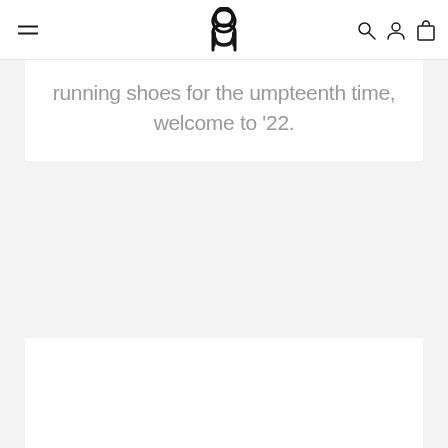On Running logo with navigation icons: hamburger menu, search, account, bag
running shoes for the umpteenth time, welcome to '22.
[Figure (other): White card / content area at the bottom of the page, partially visible]